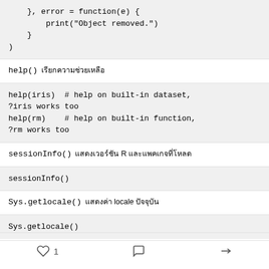}, error = function(e) { print("Object removed.") }
help() เรียกความช่วยเหลือ
help(iris)  # help on built-in dataset, ?iris works too
help(rm)    # help on built-in function, ?rm works too
sessionInfo() แสดงเวอร์ชัน R และแพคเกจที่โหลด
sessionInfo()
Sys.getlocale() แสดงค่า locale ปัจจุบัน
Sys.getlocale()
♡ 1   ○   ⇒